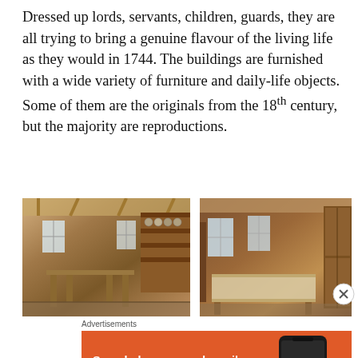Dressed up lords, servants, children, guards, they are all trying to bring a genuine flavour of the living life as they would in 1744. The buildings are furnished with a wide variety of furniture and daily-life objects. Some of them are the originals from the 18th century, but the majority are reproductions.
[Figure (photo): Interior of a historical wooden building with tables, chairs, and shelves with dishes and pottery, showing a kitchen or dining room scene from the 18th century.]
[Figure (photo): Interior of a historical wooden room with a bed, windows with small panes, wooden furniture and shelving, evoking an 18th-century bedroom.]
Advertisements
[Figure (infographic): DuckDuckGo advertisement banner with orange background showing text 'Search, browse, and email with more privacy. All in One Free App' with a smartphone displaying the DuckDuckGo app.]